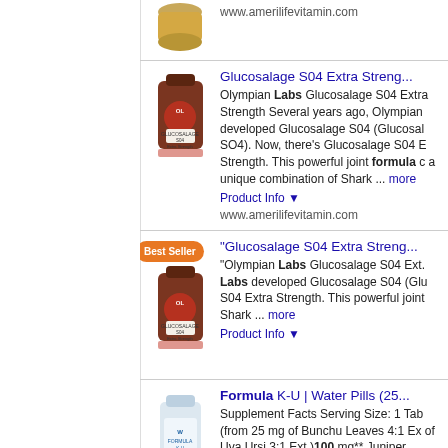www.amerilifevitamin.com
[Figure (photo): Product bottle of Glucosalage S04 Extra Strength by Olympian Labs]
Glucosalage S04 Extra Streng...
Olympian Labs Glucosalage S04 Extra Strength Several years ago, Olympian developed Glucosalage S04 (Glucosal SO4). Now, there's Glucosalage S04 E Strength. This powerful joint formula c a unique combination of Shark ... more
Product Info ▼
www.amerilifevitamin.com
[Figure (photo): Product bottle of Glucosalage S04 Extra Strength with Best Seller badge]
"Glucosalage S04 Extra Streng...
"Olympian Labs Glucosalage S04 Ext. Labs developed Glucosalage S04 (Glu S04 Extra Strength. This powerful joint Shark ... more
Product Info ▼
[Figure (photo): Product bottle of Formula K-U Water Pills]
Formula K-U | Water Pills (25...
Supplement Facts Serving Size: 1 Tab (from 25 mg of Bunchu Leaves 4:1 Ex of Uva Ursi 3:1 Ext.)100 mg** Juniper **Daily ... more
Product Info ▼
[Figure (photo): Product image for LomaLux Acne Pill]
LomaLux Acne Pill, Healthy S...